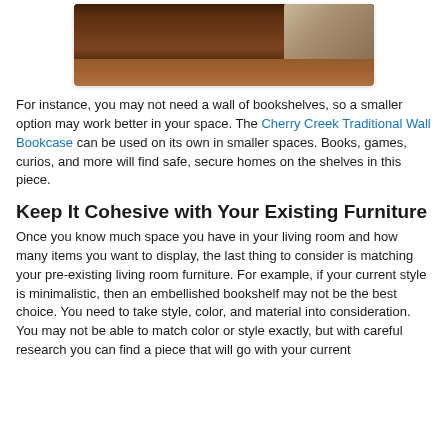[Figure (photo): Partial view of a dark brown wooden cabinet/bookcase with decorative molding, and the edge of a light olive/cream upholstered chair visible on the right side.]
For instance, you may not need a wall of bookshelves, so a smaller option may work better in your space. The Cherry Creek Traditional Wall Bookcase can be used on its own in smaller spaces. Books, games, curios, and more will find safe, secure homes on the shelves in this piece.
Keep It Cohesive with Your Existing Furniture
Once you know much space you have in your living room and how many items you want to display, the last thing to consider is matching your pre-existing living room furniture. For example, if your current style is minimalistic, then an embellished bookshelf may not be the best choice. You need to take style, color, and material into consideration. You may not be able to match color or style exactly, but with careful research you can find a piece that will go with your current